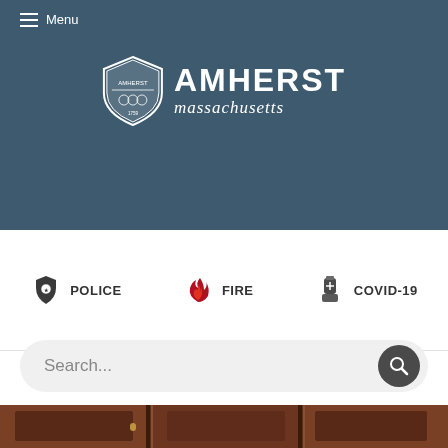[Figure (screenshot): Amherst Massachusetts government website header showing navigation menu, city logo with shield, Police/Fire/COVID-19 quick links, search bar, and wooden door photo at bottom]
Menu
[Figure (logo): Amherst Massachusetts seal/shield logo with AMHERST text and massachusetts in italic script]
POLICE
FIRE
COVID-19
Search...